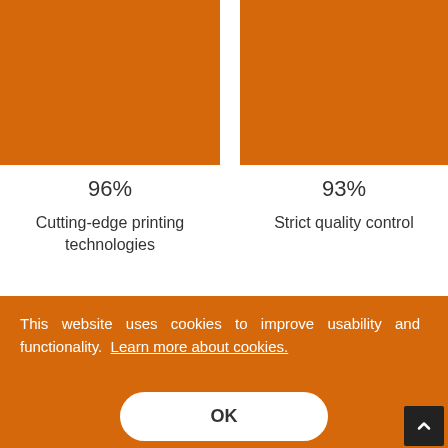[Figure (other): Orange image block top-left (cutting-edge printing)]
[Figure (other): Orange image block top-right (strict quality control)]
96%
93%
Cutting-edge printing technologies
Strict quality control
[Figure (other): Partial bar chart bottom-left with gray background and orange fill]
[Figure (other): Partial bar chart bottom-right with gray background and orange fill]
This website uses cookies to improve usability and functionality.  Learn more about cookies.
OK